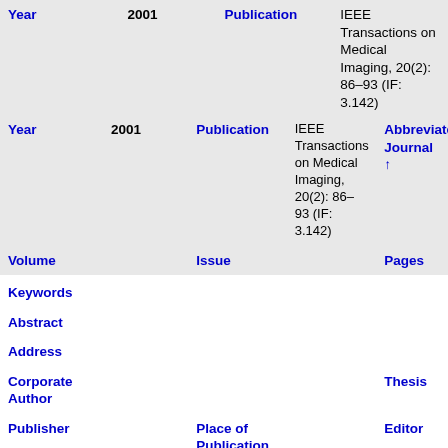| Year | Publication | Abbreviated Journal |
| --- | --- | --- |
| 2001 | IEEE Transactions on Medical Imaging, 20(2): 86–93 (IF: 3.142) | Abbreviated Journal ↑ |
| Volume | Issue | Pages |
| Keywords |  |  |
| Abstract |  |  |
| Address |  |  |
| Corporate Author |  | Thesis |
| Publisher | Place of Publication | Editor |
| Language | Summary Language | Original Title |
| Series Editor | Series Title | Abbreviated Series Title |
| Series Volume | Series Issue | Edition |
| ISSN | ISBN | Medium |
| Area | Expedition | Conference |